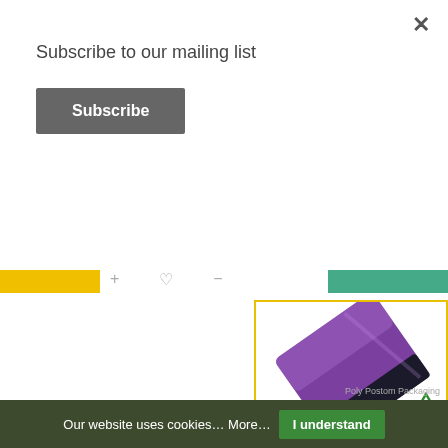×
Subscribe to our mailing list
Subscribe
[Figure (screenshot): Navigation bar with yellow tab and icons for shopping/wishlist actions]
[Figure (photo): Violet/purple mailing bag poly mailer with black interior flap, shown at an angle. Recycle symbol in bottom right corner.]
Violet Mailing Bags 12 x 16, 305 x 406mm + Lip, Qty 500
Our website uses cookies… More…   I understand
Poly Postom Packaging